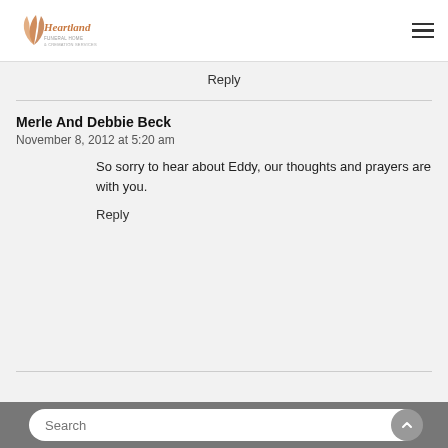Heartland Funeral Home & Cremation Services
Reply
Merle And Debbie Beck
November 8, 2012 at 5:20 am
So sorry to hear about Eddy, our thoughts and prayers are with you.
Reply
Search